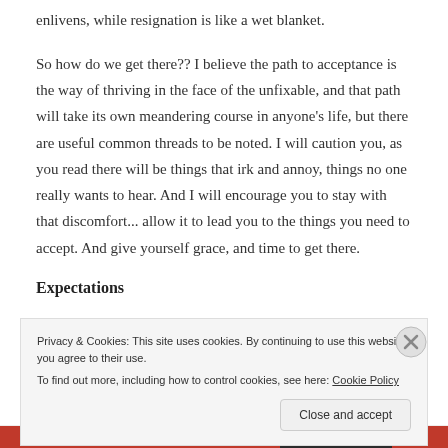enlivens, while resignation is like a wet blanket.
So how do we get there?? I believe the path to acceptance is the way of thriving in the face of the unfixable, and that path will take its own meandering course in anyone's life, but there are useful common threads to be noted. I will caution you, as you read there will be things that irk and annoy, things no one really wants to hear. And I will encourage you to stay with that discomfort... allow it to lead you to the things you need to accept. And give yourself grace, and time to get there.
Expectations
Privacy & Cookies: This site uses cookies. By continuing to use this website, you agree to their use.
To find out more, including how to control cookies, see here: Cookie Policy